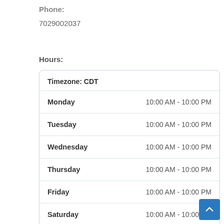Phone:
7029002037
Hours:
| Day | Hours |
| --- | --- |
| Timezone: CDT |  |
| Monday | 10:00 AM - 10:00 PM |
| Tuesday | 10:00 AM - 10:00 PM |
| Wednesday | 10:00 AM - 10:00 PM |
| Thursday | 10:00 AM - 10:00 PM |
| Friday | 10:00 AM - 10:00 PM |
| Saturday | 10:00 AM - 10:00 PM |
| Sunday | 10:00 AM - 10:00 PM |